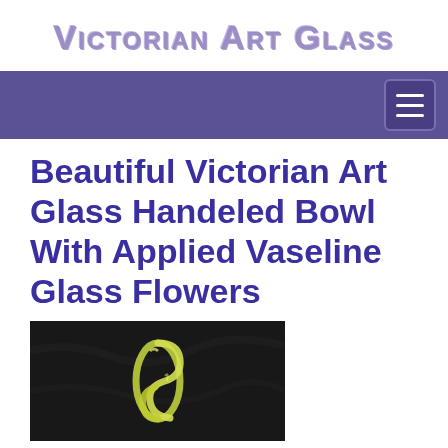Victorian Art Glass
Beautiful Victorian Art Glass Handeled Bowl With Applied Vaseline Glass Flowers
[Figure (photo): Product photo of a Victorian art glass handeled bowl with applied vaseline glass flowers, showing a handle detail with yellowish-green vaseline glass against a dark background.]